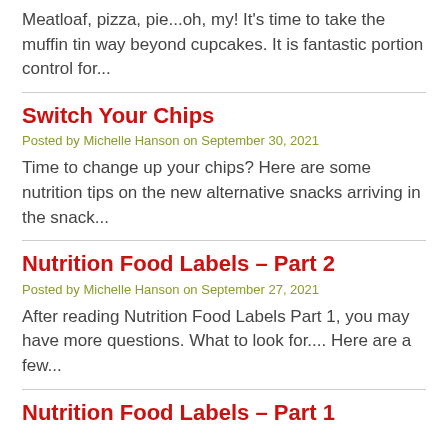Meatloaf, pizza, pie...oh, my! It's time to take the muffin tin way beyond cupcakes. It is fantastic portion control for...
Switch Your Chips
Posted by Michelle Hanson on September 30, 2021
Time to change up your chips? Here are some nutrition tips on the new alternative snacks arriving in the snack...
Nutrition Food Labels – Part 2
Posted by Michelle Hanson on September 27, 2021
After reading Nutrition Food Labels Part 1, you may have more questions. What to look for.... Here are a few...
Nutrition Food Labels – Part 1